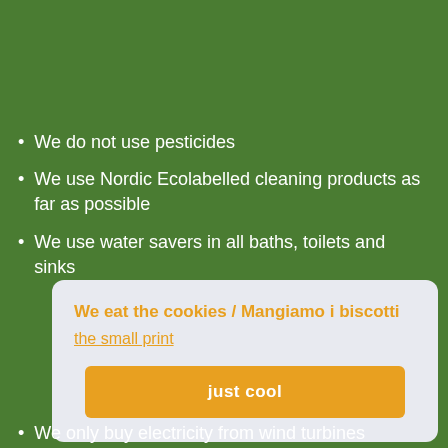We do not use pesticides
We use Nordic Ecolabelled cleaning products as far as possible
We use water savers in all baths, toilets and sinks
We eat the cookies / Mangiamo i biscotti
the small print
just cool
We only buy electricity from wind turbines